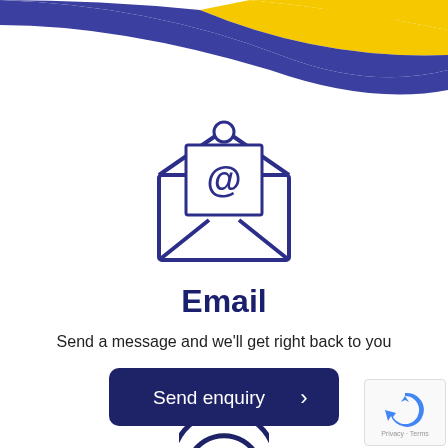[Figure (illustration): Decorative wave banner at top with blue and yellow colors]
[Figure (illustration): Open envelope icon with @ symbol on letter, drawn in dark blue outline style]
Email
Send a message and we'll get right back to you
[Figure (illustration): Dark navy blue rounded button with text 'Send enquiry' and a chevron arrow '>']
[Figure (illustration): Bottom partial illustration of wifi/signal arc icon in dark blue, partially visible]
[Figure (illustration): reCAPTCHA badge in bottom right corner with 'Privacy - Terms' text]